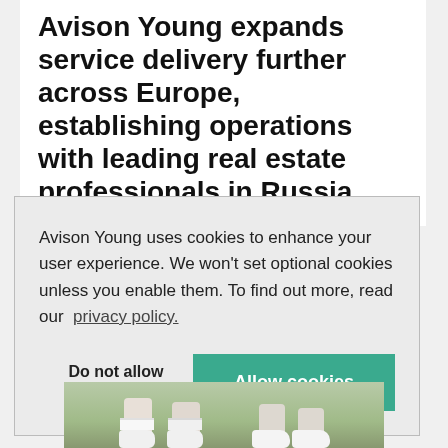Avison Young expands service delivery further across Europe, establishing operations with leading real estate professionals in Russia
Avison Young uses cookies to enhance your user experience. We won't set optional cookies unless you enable them. To find out more, read our privacy policy.
Do not allow cookies
Allow cookies
[Figure (photo): Photo showing legs and feet of people walking on grass]